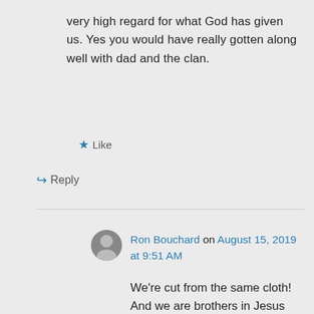very high regard for what God has given us. Yes you would have really gotten along well with dad and the clan.
★ Like
↪ Reply
Ron Bouchard on August 15, 2019 at 9:51 AM
We're cut from the same cloth! And we are brothers in Jesus Christ! Ron
★ Liked by 1 person